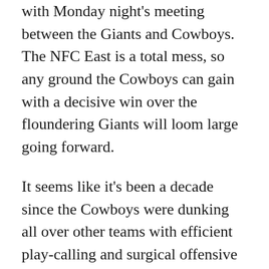with Monday night's meeting between the Giants and Cowboys. The NFC East is a total mess, so any ground the Cowboys can gain with a decisive win over the floundering Giants will loom large going forward.
It seems like it's been a decade since the Cowboys were dunking all over other teams with efficient play-calling and surgical offensive production, so it will be equally important for our fantasy seasons' outlooks if Dak Prescott can right the ship and get Amari Cooper, Michael Gallup and Ezekiel Elliott all humming in sync again. The Giants defense provides a get-right game for this quartet of fantasy studs to perform at the same time again.